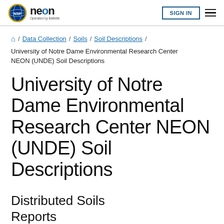NEON — Operated by Battelle | SIGN IN
Home / Data Collection / Soils / Soil Descriptions / University of Notre Dame Environmental Research Center NEON (UNDE) Soil Descriptions
University of Notre Dame Environmental Research Center NEON (UNDE) Soil Descriptions
Distributed Soils Reports